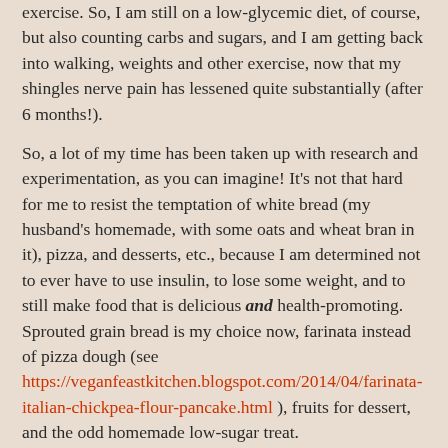exercise. So, I am still on a low-glycemic diet, of course, but also counting carbs and sugars, and I am getting back into walking, weights and other exercise, now that my shingles nerve pain has lessened quite substantially (after 6 months!).
So, a lot of my time has been taken up with research and experimentation, as you can imagine!  It's not that hard for me to resist the temptation of white bread (my husband's homemade, with some oats and wheat bran in it), pizza, and desserts, etc., because I am determined not to ever have to use insulin, to lose some weight, and to still make food that is delicious and health-promoting. Sprouted grain bread is my choice now, farinata instead of pizza dough (see https://veganfeastkitchen.blogspot.com/2014/04/farinata-italian-chickpea-flour-pancake.html ), fruits for dessert, and the odd homemade low-sugar treat.
That said, I love chocolate and I don't want to give it up!  I can have a bit of dark chocolate (at least 71% chocolate) for a treat, but I want to create some chocolate recipes at home, too.  I had heard about chickpea chocolate spreads and, since I always have a supply of cooked chickpeas in my freezer, I decided to try making some